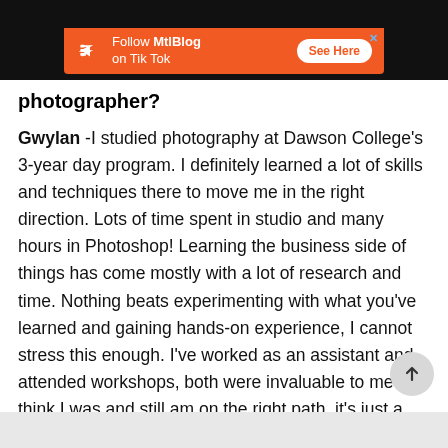[Figure (screenshot): Orange advertisement banner: Follow MtlBlog on Tik Tok with See Here button and close X icon]
photographer?
Gwylan -I studied photography at Dawson College's 3-year day program. I definitely learned a lot of skills and techniques there to move me in the right direction. Lots of time spent in studio and many hours in Photoshop! Learning the business side of things has come mostly with a lot of research and time. Nothing beats experimenting with what you've learned and gaining hands-on experience, I cannot stress this enough. I've worked as an assistant and attended workshops, both were invaluable to me. I think I was and still am on the right path, it's just a question of working hard every day to steer yourself in the direction you want to go.